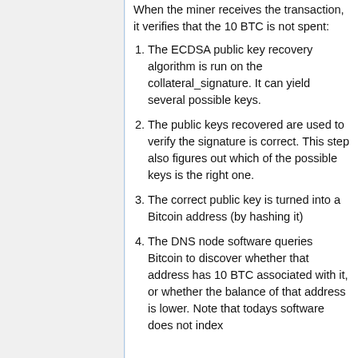When the miner receives the transaction, it verifies that the 10 BTC is not spent:
The ECDSA public key recovery algorithm is run on the collateral_signature. It can yield several possible keys.
The public keys recovered are used to verify the signature is correct. This step also figures out which of the possible keys is the right one.
The correct public key is turned into a Bitcoin address (by hashing it)
The DNS node software queries Bitcoin to discover whether that address has 10 BTC associated with it, or whether the balance of that address is lower. Note that todays software does not index